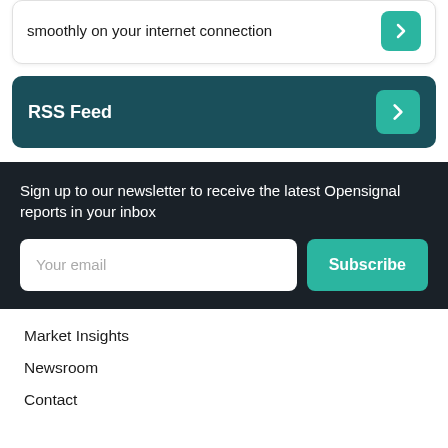Check with Meteor if your apps will run smoothly on your internet connection
RSS Feed
Sign up to our newsletter to receive the latest Opensignal reports in your inbox
Your email
Subscribe
Market Insights
Newsroom
Contact